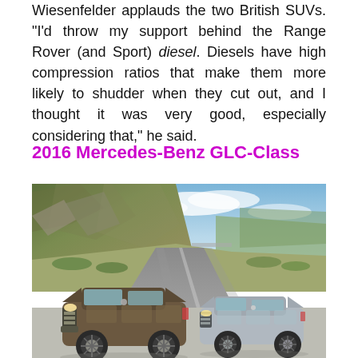Wiesenfelder applauds the two British SUVs. "I'd throw my support behind the Range Rover (and Sport) diesel. Diesels have high compression ratios that make them more likely to shudder when they cut out, and I thought it was very good, especially considering that," he said.
2016 Mercedes-Benz GLC-Class
[Figure (photo): Two Mercedes-Benz GLC-Class SUVs parked on a winding mountain road with rocky hillside and blue sky with clouds in the background. One vehicle is brown/dark and one is silver/grey.]